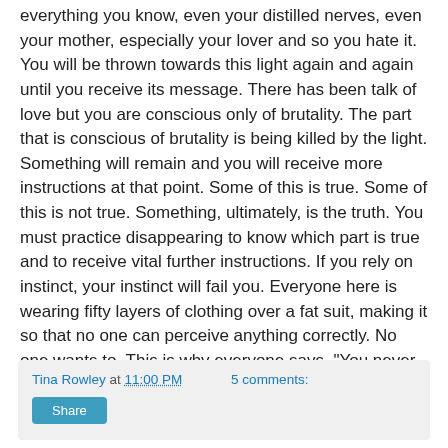everything you know, even your distilled nerves, even your mother, especially your lover and so you hate it. You will be thrown towards this light again and again until you receive its message. There has been talk of love but you are conscious only of brutality. The part that is conscious of brutality is being killed by the light. Something will remain and you will receive more instructions at that point. Some of this is true. Some of this is not true. Something, ultimately, is the truth. You must practice disappearing to know which part is true and to receive vital further instructions. If you rely on instinct, your instinct will fail you. Everyone here is wearing fifty layers of clothing over a fat suit, making it so that no one can perceive anything correctly. No one wants to. This is why everyone says, "You never know." But the clothing is coming off and the suit is coming off and your bones are coming off and you do know.
Tina Rowley at 11:00 PM   5 comments:
Share